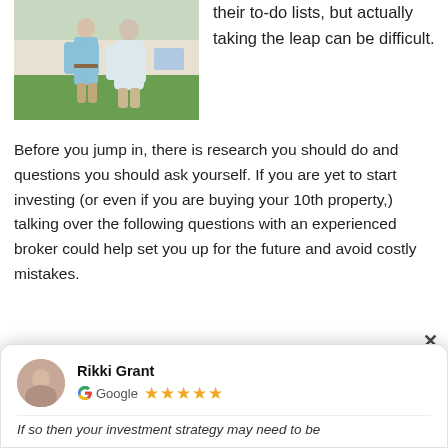[Figure (photo): Photo of two people standing in front of a house with green lawn, one person in a light jacket with arms outstretched]
their to-do lists, but actually taking the leap can be difficult.
Before you jump in, there is research you should do and questions you should ask yourself. If you are yet to start investing (or even if you are buying your 10th property,) talking over the following questions with an experienced broker could help set you up for the future and avoid costly mistakes.
×
Rikki Grant
Google ★★★★★
If so then your investment strategy may need to be